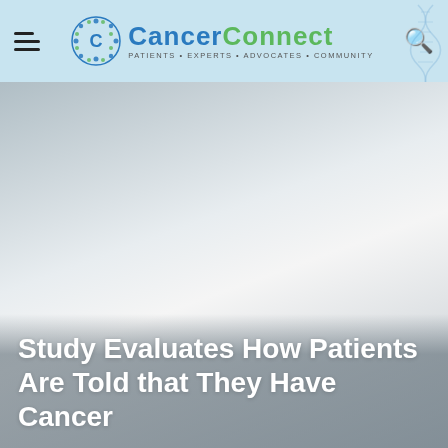CancerConnect — Patients + Experts + Advocates + Community
[Figure (photo): Hero image with grey/silver gradient background, likely showing a medical or cancer-related visual. DNA helix graphic visible on right side of header area.]
Study Evaluates How Patients Are Told that They Have Cancer